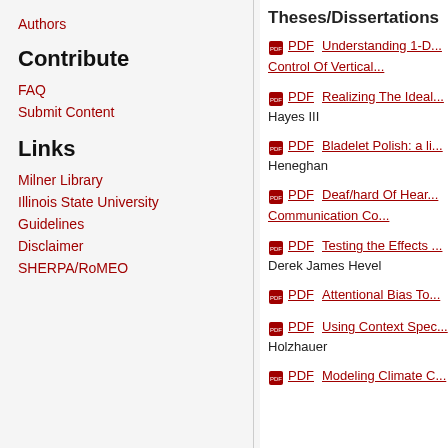Authors
Contribute
FAQ
Submit Content
Links
Milner Library
Illinois State University
Guidelines
Disclaimer
SHERPA/RoMEO
Theses/Dissertations
PDF Understanding 1-D... Control Of Vertical...
PDF Realizing The Ideal... Hayes III
PDF Bladelet Polish: a li... Heneghan
PDF Deaf/hard Of Hear... Communication Co...
PDF Testing the Effects ... Derek James Hevel
PDF Attentional Bias To...
PDF Using Context Spec... Holzhauer
PDF Modeling Climate C...